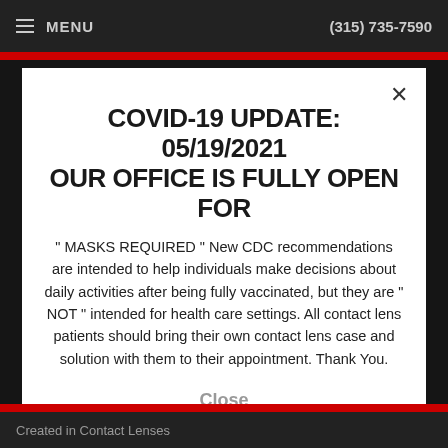≡ MENU  (315) 735-7590
COVID-19 UPDATE: 05/19/2021 OUR OFFICE IS FULLY OPEN FOR
" MASKS REQUIRED " New CDC recommendations are intended to help individuals make decisions about daily activities after being fully vaccinated, but they are " NOT " intended for health care settings. All contact lens patients should bring their own contact lens case and solution with them to their appointment. Thank You.
Close
Created in Contact Lenses